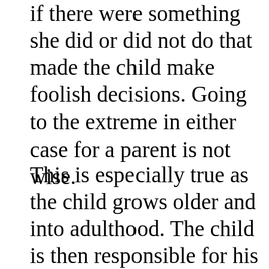if there were something she did or did not do that made the child make foolish decisions. Going to the extreme in either case for a parent is not wise.
This is especially true as the child grows older and into adulthood. The child is then responsible for his own actions. Although we as parents and grandparents do continue to greatly influence our children and grandchildren, ultimately the decisions that they make, either wise or foolish, are their responsibility. Just remember to live your legacy each day.
2 Tainted wealth has no lasting value,